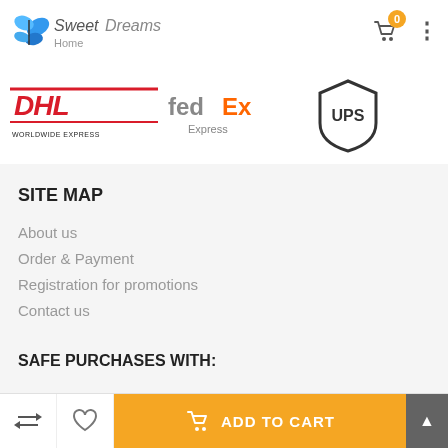[Figure (logo): Sweet Dreams Home logo with butterflies]
[Figure (logo): DHL Worldwide Express, FedEx Express, UPS shipping carrier logos]
SITE MAP
About us
Order & Payment
Registration for promotions
Contact us
SAFE PURCHASES WITH:
[Figure (logo): Visa and Mastercard payment logos (partially visible)]
[Figure (screenshot): Add to Cart button bar with cart icon, swap icon, heart icon, and orange ADD TO CART button]